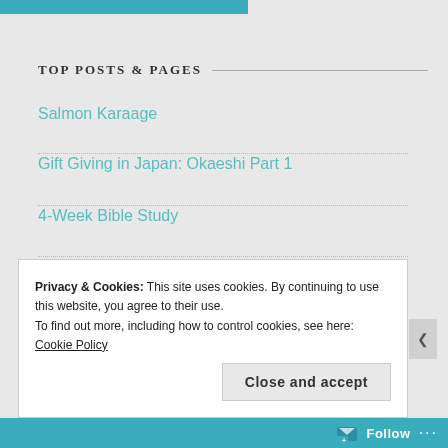[Figure (other): Teal navigation bar at top of page]
TOP POSTS & PAGES
Salmon Karaage
Gift Giving in Japan: Okaeshi Part 1
4-Week Bible Study
The Good, the Bad, and the Ugly
Giving
Privacy & Cookies: This site uses cookies. By continuing to use this website, you agree to their use.
To find out more, including how to control cookies, see here: Cookie Policy
Close and accept
Follow